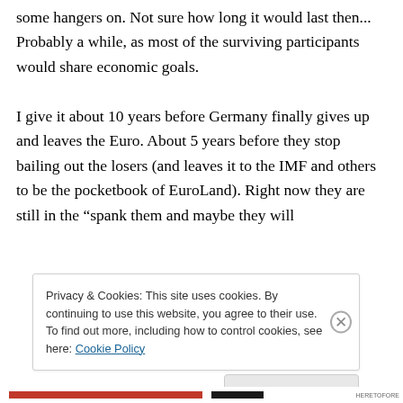some hangers on. Not sure how long it would last then... Probably a while, as most of the surviving participants would share economic goals.

I give it about 10 years before Germany finally gives up and leaves the Euro. About 5 years before they stop bailing out the losers (and leaves it to the IMF and others to be the pocketbook of EuroLand). Right now they are still in the “spank them and maybe they will
Privacy & Cookies: This site uses cookies. By continuing to use this website, you agree to their use.
To find out more, including how to control cookies, see here: Cookie Policy
Close and accept